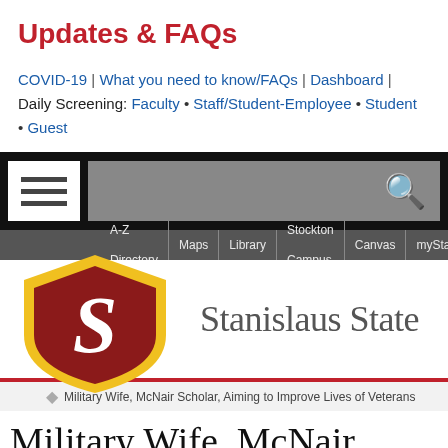Updates & FAQs
COVID-19 | What you need to know/FAQs | Dashboard | Daily Screening: Faculty • Staff/Student-Employee • Student • Guest
[Figure (screenshot): University website navigation bar with hamburger menu icon and search bar on black background]
A-Z Directory | Maps | Library | Stockton Campus | Canvas | myStanSt...
[Figure (logo): Stanislaus State university logo with shield bearing letter S and text Stanislaus State]
Military Wife, McNair Scholar, Aiming to Improve Lives of Veterans
Military Wife, McNair Scholar,